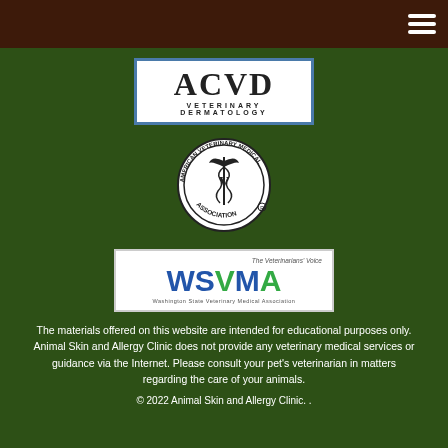[Figure (logo): Dark brown top navigation bar with white hamburger menu icon on the right]
[Figure (logo): ACVD Veterinary Dermatology logo - white background with blue border, large bold ACVD text and 'VETERINARY DERMATOLOGY' subtitle]
[Figure (logo): American Veterinary Medical Association circular seal logo with caduceus symbol]
[Figure (logo): WSVMA Washington State Veterinary Medical Association logo - white background, blue and green text, subtitle 'The Veterinarians Voice']
The materials offered on this website are intended for educational purposes only. Animal Skin and Allergy Clinic does not provide any veterinary medical services or guidance via the Internet. Please consult your pet's veterinarian in matters regarding the care of your animals.
© 2022 Animal Skin and Allergy Clinic. .